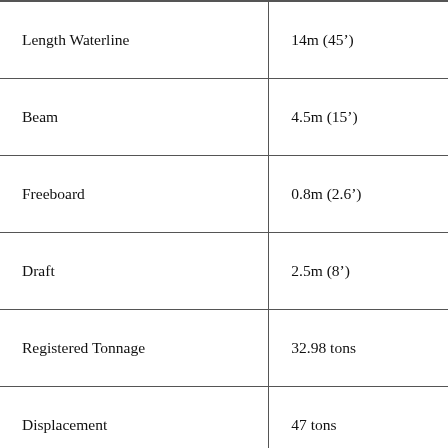| Length Waterline | 14m (45’) |
| Beam | 4.5m (15’) |
| Freeboard | 0.8m (2.6’) |
| Draft | 2.5m (8’) |
| Registered Tonnage | 32.98 tons |
| Displacement | 47 tons |
| Ballast | 10 tons |
| Foremast Height | 16m (52’) |